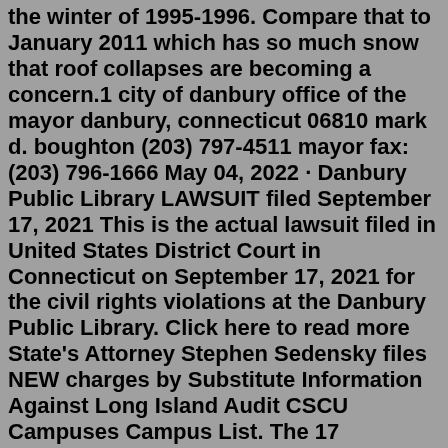the winter of 1995-1996. Compare that to January 2011 which has so much snow that roof collapses are becoming a concern.1 city of danbury office of the mayor danbury, connecticut 06810 mark d. boughton (203) 797-4511 mayor fax: (203) 796-1666 May 04, 2022 · Danbury Public Library LAWSUIT filed September 17, 2021 This is the actual lawsuit filed in United States District Court in Connecticut on September 17, 2021 for the civil rights violations at the Danbury Public Library. Click here to read more State's Attorney Stephen Sedensky files NEW charges by Substitute Information Against Long Island Audit CSCU Campuses Campus List. The 17 Connecticut State Colleges & Universities (CSCU) provide affordable, innovative and rigorous programs that permit students to achieve their personal and career goals, as well as contribute to the economic growth of Connecticut.Sep 20, 2021 · 3 of 5 4 of 5. Footage from Danbury police's body cameras show police responding to YouTuber SeanPaul Reyes' attempts to film inside Danbury Library on June 9. A federal